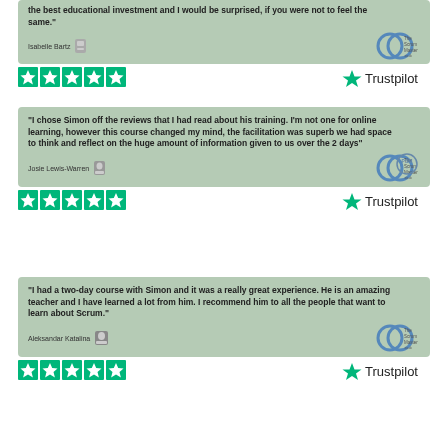"the best educational investment and I would be surprised, if you were not to feel the same."
Isabelle Bartz
[Figure (other): Five green stars Trustpilot rating with Trustpilot logo]
"I chose Simon off the reviews that I had read about his training. I'm not one for online learning, however this course changed my mind, the facilitation was superb we had space to think and reflect on the huge amount of information given to us over the 2 days"
Josie Lewis-Warren
[Figure (other): Five green stars Trustpilot rating with Trustpilot logo]
"I had a two-day course with Simon and it was a really great experience. He is an amazing teacher and I have learned a lot from him. I recommend him to all the people that want to learn about Scrum."
Aleksandar Katalina
[Figure (other): Five green stars Trustpilot rating with Trustpilot logo]